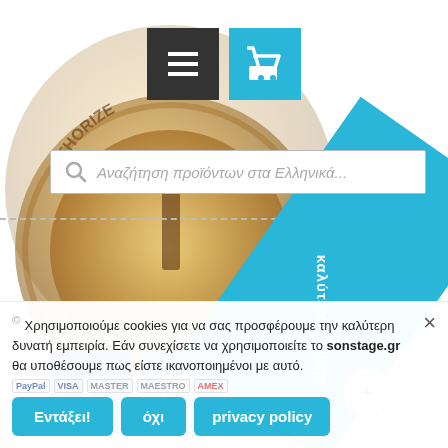[Figure (screenshot): Website header with hamburger menu button (dark grey) and shopping cart button (light blue)]
[Figure (photo): Circular gold dealer coin/badge with text DEALER around the bottom edge]
[Figure (screenshot): Search bar with placeholder text: Αναζήτηση προϊόντων στα Ελληνικά...]
[Figure (screenshot): Facebook and Twitter social media icon buttons]
[Figure (infographic): Diagonal blue ribbon banner with Greek text about price]
Χρησιμοποιούμε cookies για να σας προσφέρουμε την καλύτερη δυνατή εμπειρία. Εάν συνεχίσετε να χρησιμοποιείτε το sonstage.gr θα υποθέσουμε πως είστε ικανοποιημένοι με αυτό.
Εντάξει!
όχι
privacy policy